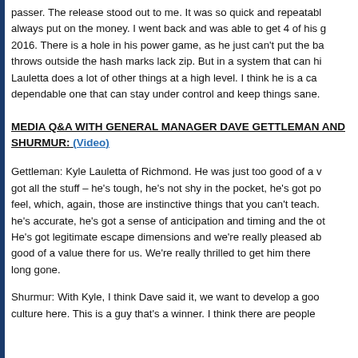passer. The release stood out to me. It was so quick and repeatable, always put on the money. I went back and was able to get 4 of his games in 2016. There is a hole in his power game, as he just can't put the ball deep, throws outside the hash marks lack zip. But in a system that can hide that, Lauletta does a lot of other things at a high level. I think he is a capable, dependable one that can stay under control and keep things sane.
MEDIA Q&A WITH GENERAL MANAGER DAVE GETTLEMAN AND SHURMUR: (Video)
Gettleman: Kyle Lauletta of Richmond. He was just too good of a value, got all the stuff – he's tough, he's not shy in the pocket, he's got pocket feel, which, again, those are instinctive things that you can't teach. And he's accurate, he's got a sense of anticipation and timing and the other. He's got legitimate escape dimensions and we're really pleased about it, good of a value there for us. We're really thrilled to get him there. He was long gone.
Shurmur: With Kyle, I think Dave said it, we want to develop a good culture here. This is a guy that's a winner. I think there are people